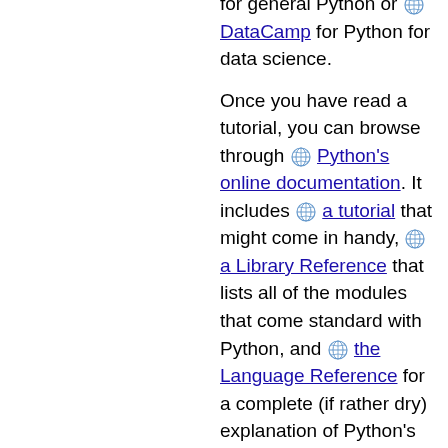for general Python or DataCamp for Python for data science.
Once you have read a tutorial, you can browse through Python's online documentation. It includes a tutorial that might come in handy, a Library Reference that lists all of the modules that come standard with Python, and the Language Reference for a complete (if rather dry) explanation of Python's syntax.
When you are ready to write your first program, you will need a text editor. To get